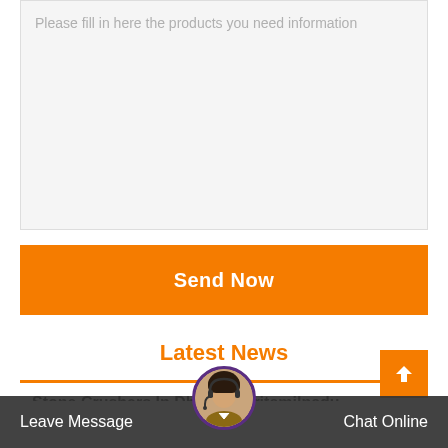Please fill in here the products you need information
Send Now
Latest News
Stone Crushers In Dharmapuritamilnadu
Stone Crushers In Dharmapuritamilnadu . Stone Crushers For Sale In Tamilnadu. Ci5x series.
Leave Message
Chat Online